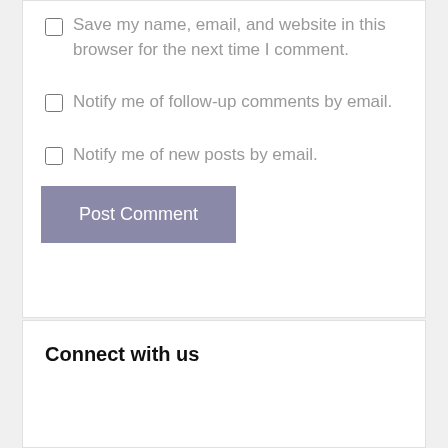Save my name, email, and website in this browser for the next time I comment.
Notify me of follow-up comments by email.
Notify me of new posts by email.
Post Comment
Connect with us